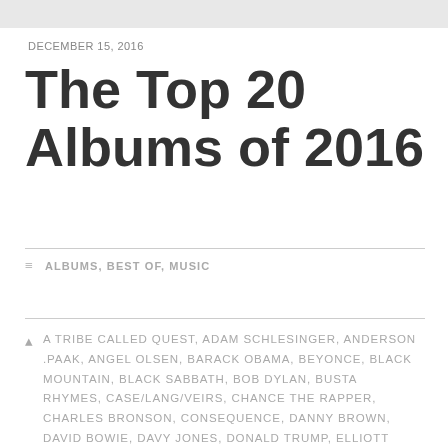DECEMBER 15, 2016
The Top 20 Albums of 2016
ALBUMS, BEST OF, MUSIC
A TRIBE CALLED QUEST, ADAM SCHLESINGER, ANDERSON .PAAK, ANGEL OLSEN, BARACK OBAMA, BEYONCE, BLACK MOUNTAIN, BLACK SABBATH, BOB DYLAN, BUSTA RHYMES, CASE/LANG/VEIRS, CHANCE THE RAPPER, CHARLES BRONSON, CONSEQUENCE, DANNY BROWN, DAVID BOWIE, DAVY JONES, DONALD TRUMP, ELLIOTT SMITH, ERYKAH BADU, FLEETWOOD MAC, FRANK OCEAN, FRESH OFF THE BOAT, ICE CUBE, J.G. BALLARD, JAMILA